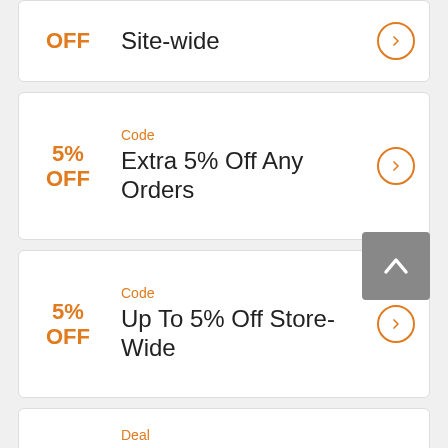OFF  Site-wide
Code
5% OFF  Extra 5% Off Any Orders
Code
5% OFF  Up To 5% Off Store-Wide
Deal
Free Shipping